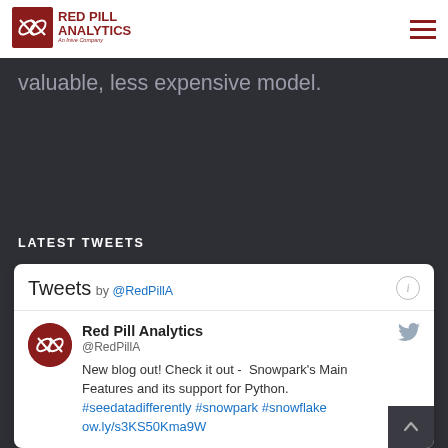Red Pill Analytics — An Inive Company
valuable, less expensive model.
LATEST TWEETS
[Figure (screenshot): Twitter/Tweets widget showing tweets by @RedPillA. Tweet from Red Pill Analytics @RedPillA: 'New blog out! Check it out - Snowpark's Main Features and its support for Python. #seedatadifferently #snowpark #snowflake ow.ly/s3KS50Kma9W']